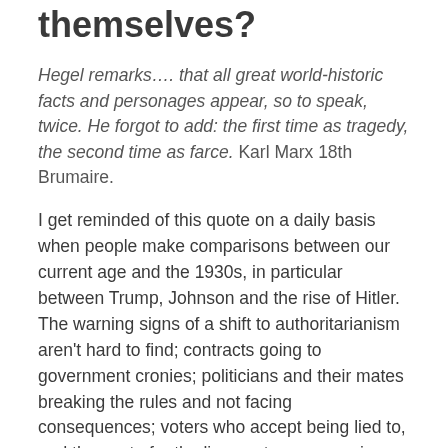themselves?
Hegel remarks…. that all great world-historic facts and personages appear, so to speak, twice. He forgot to add: the first time as tragedy, the second time as farce. Karl Marx 18th Brumaire.
I get reminded of this quote on a daily basis when people make comparisons between our current age and the 1930s, in particular between Trump, Johnson and the rise of Hitler. The warning signs of a shift to authoritarianism aren't hard to find; contracts going to government cronies; politicians and their mates breaking the rules and not facing consequences; voters who accept being lied to, and then vote for the liars, voter suppression, repressive policing. The recent award of peerages to genocide deniers and Russian oligarchs illustrates that